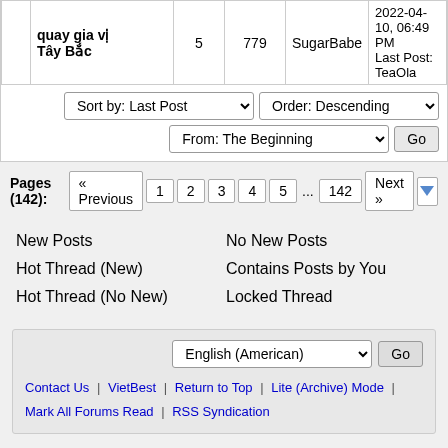|  | Title | Replies | Views | Author | Last Post |
| --- | --- | --- | --- | --- | --- |
|  | quay gia vị Tây Bắc | 5 | 779 | SugarBabe | 2022-04-10, 06:49 PM
Last Post: TeaOla |
Sort by: Last Post   Order: Descending   From: The Beginning   Go
Pages (142): « Previous  1  2  3  4  5  ...  142  Next »
New Posts
Hot Thread (New)
Hot Thread (No New)
No New Posts
Contains Posts by You
Locked Thread
English (American)  Go
Contact Us | VietBest | Return to Top | Lite (Archive) Mode | Mark All Forums Read | RSS Syndication